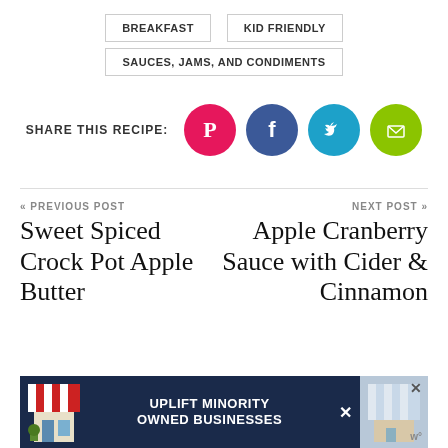BREAKFAST
KID FRIENDLY
SAUCES, JAMS, AND CONDIMENTS
SHARE THIS RECIPE:
[Figure (infographic): Social sharing icons: Pinterest (pink circle with P), Facebook (blue circle with f), Twitter (teal circle with bird), Email (green circle with envelope)]
« PREVIOUS POST
Sweet Spiced Crock Pot Apple Butter
NEXT POST »
Apple Cranberry Sauce with Cider & Cinnamon
[Figure (infographic): Advertisement banner: UPLIFT MINORITY OWNED BUSINESSES on dark navy background with store illustration]